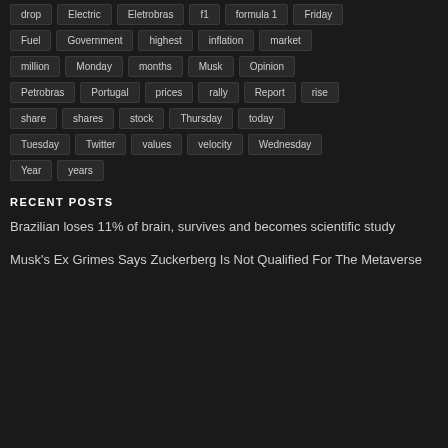drop
Electric
Eletrobras
f1
formula 1
Friday
Fuel
Government
highest
inflation
market
million
Monday
months
Musk
Opinion
Petrobras
Portugal
prices
rally
Report
rise
share
shares
stock
Thursday
today
Tuesday
Twitter
values
velocity
Wednesday
Year
years
RECENT POSTS
Brazilian loses 11% of brain, survives and becomes scientific study
Musk's Ex Grimes Says Zuckerberg Is Not Qualified For The Metaverse